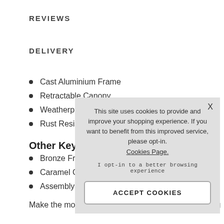REVIEWS
DELIVERY
Cast Aluminium Frame
Retractable Canopy
Weatherproo…
Rust Resistan…
Other Key F…
Bronze Frame…
Caramel Cano…
Assembly Req…
Make the most of your outdoor space and entertaining…
This site uses cookies to provide and improve your shopping experience. If you want to benefit from this improved service, please opt-in. Cookies Page.

I opt-in to a better browsing experience

ACCEPT COOKIES